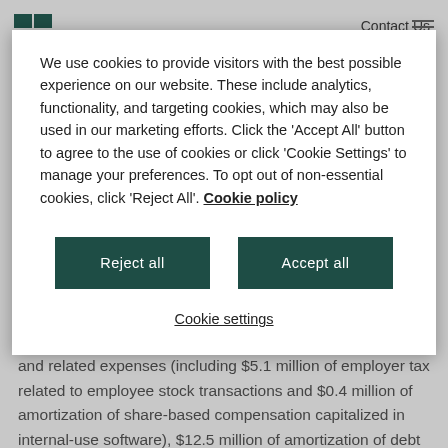Contact Us
We use cookies to provide visitors with the best possible experience on our website. These include analytics, functionality, and targeting cookies, which may also be used in our marketing efforts. Click the 'Accept All' button to agree to the use of cookies or click 'Cookie Settings' to manage your preferences. To opt out of non-essential cookies, click 'Reject All'. Cookie policy
Reject all
Accept all
Cookie settings
approximately $57.9 million in share-based compensation and related expenses (including $5.1 million of employer tax related to employee stock transactions and $0.4 million of amortization of share-based compensation capitalized in internal-use software), $12.5 million of amortization of debt discount and issuance costs, $1.9 million of amortization of